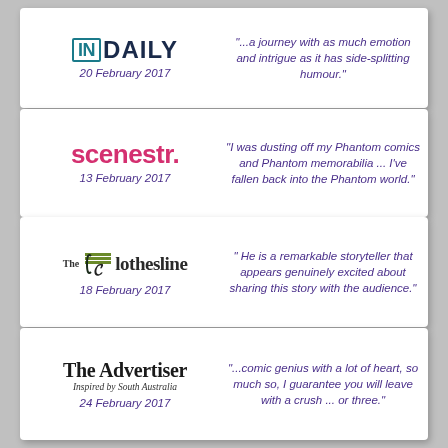[Figure (logo): InDaily logo with date 20 February 2017 and review quote]
“...a journey with as much emotion and intrigue as it has side-splitting humour.”
[Figure (logo): scenestr. logo with date 13 February 2017 and review quote]
“I was dusting off my Phantom comics and Phantom memorabilia ... I’ve fallen back into the Phantom world.”
[Figure (logo): The Clothesline logo with date 18 February 2017 and review quote]
“ He is a remarkable storyteller that appears genuinely excited about sharing this story with the audience.”
[Figure (logo): The Advertiser logo with date 24 February 2017 and review quote]
“...comic genius with a lot of heart, so much so, I guarantee you will leave with a crush ... or three.”